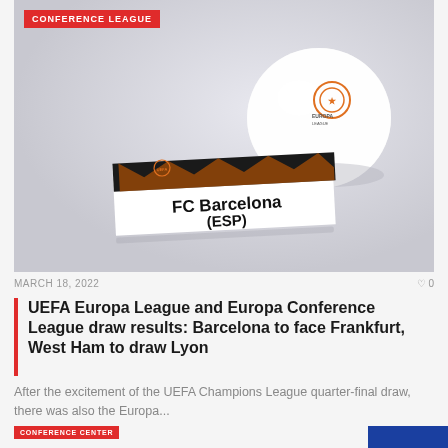[Figure (photo): Photo of an FC Barcelona team name card placed in front of a UEFA Europa League draw ball on a light grey background. A red banner reads CONFERENCE LEAGUE in the top-left corner.]
MARCH 18, 2022
0
UEFA Europa League and Europa Conference League draw results: Barcelona to face Frankfurt, West Ham to draw Lyon
After the excitement of the UEFA Champions League quarter-final draw, there was also the Europa...
CONFERENCE CENTER